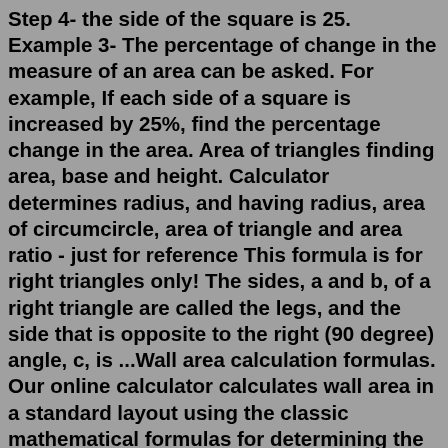Step 4- the side of the square is 25. Example 3- The percentage of change in the measure of an area can be asked. For example, If each side of a square is increased by 25%, find the percentage change in the area. Area of triangles finding area, base and height. Calculator determines radius, and having radius, area of circumcircle, area of triangle and area ratio - just for reference This formula is for right triangles only! The sides, a and b, of a right triangle are called the legs, and the side that is opposite to the right (90 degree) angle, c, is ...Wall area calculation formulas. Our online calculator calculates wall area in a standard layout using the classic mathematical formulas for determining the area of simple shapes: Swall = (a × b)1 + .. + (a × b)4 - ( (a × b)window × n) - ( (a × b)door × n), where a, b – sides, n – quantity. If in your case, the walls have a non ... To calculate the rectangle area, use the formula below. Area of rectangle = length * breadth Entering the values written above for the determination of area. Area of rectangle = 2*4 Area of rectangle = 12m 2 Dealing